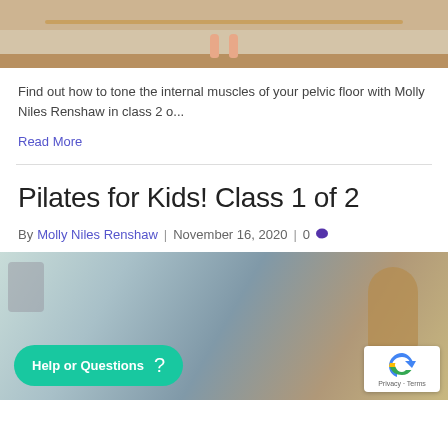[Figure (photo): Partial view of a person's feet/legs on a Pilates apparatus bar, wooden frame structure visible]
Find out how to tone the internal muscles of your pelvic floor with Molly Niles Renshaw in class 2 o...
Read More
Pilates for Kids! Class 1 of 2
By Molly Niles Renshaw | November 16, 2020 | 0
[Figure (photo): Pilates studio photo with instructor and children doing Pilates exercises, wooden barrel prop visible; teal 'Help or Questions ?' button overlay and reCAPTCHA badge in bottom right corner]